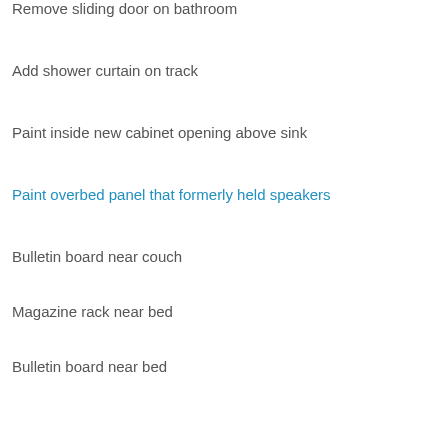Remove sliding door on bathroom
Add shower curtain on track
Paint inside new cabinet opening above sink
Paint overbed panel that formerly held speakers
Bulletin board near couch
Magazine rack near bed
Bulletin board near bed
Baskets on cabinets next to bed
Sliding drawer unit in space over sink
Sliding drawer unit in pantry